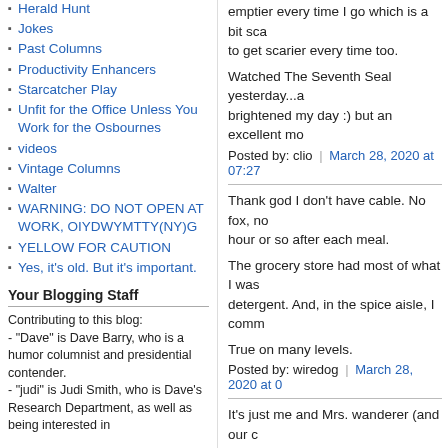Herald Hunt
Jokes
Past Columns
Productivity Enhancers
Starcatcher Play
Unfit for the Office Unless You Work for the Osbournes
videos
Vintage Columns
Walter
WARNING: DO NOT OPEN AT WORK, OIYDWYMTTY(NY)G
YELLOW FOR CAUTION
Yes, it's old. But it's important.
Your Blogging Staff
Contributing to this blog:
- "Dave" is Dave Barry, who is a humor columnist and presidential contender.
- "judi" is Judi Smith, who is Dave's Research Department, as well as being interested in
emptier every time I go which is a bit sca to get scarier every time too.
Watched The Seventh Seal yesterday...a brightened my day :) but an excellent mo
Posted by: clio | March 28, 2020 at 07:27
Thank god I don't have cable. No fox, no hour or so after each meal.
The grocery store had most of what I was detergent. And, in the spice aisle, I comm
True on many levels.
Posted by: wiredog | March 28, 2020 at 0
It's just me and Mrs. wanderer (and our c people are learning that what Benjamin F houseguests after three days applies to a
Posted by: wanderer2575 | March 28, 20